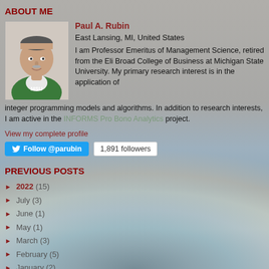ABOUT ME
Paul A. Rubin
East Lansing, MI, United States
I am Professor Emeritus of Management Science, retired from the Eli Broad College of Business at Michigan State University. My primary research interest is in the application of integer programming models and algorithms. In addition to research interests, I am active in the INFORMS Pro Bono Analytics project.
View my complete profile
Follow @parubin   1,891 followers
PREVIOUS POSTS
2022 (15)
July (3)
June (1)
May (1)
March (3)
February (5)
January (2)
2021 (21)
December (3)